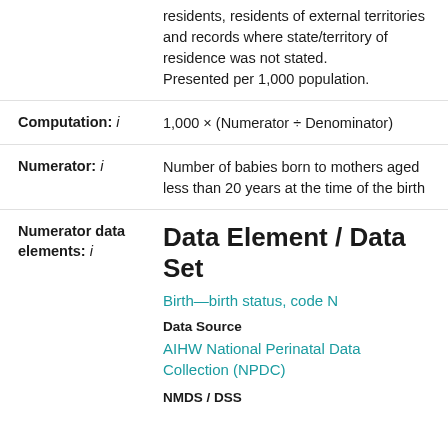residents, residents of external territories and records where state/territory of residence was not stated.
Presented per 1,000 population.
Computation: i
1,000 × (Numerator ÷ Denominator)
Numerator: i
Number of babies born to mothers aged less than 20 years at the time of the birth
Numerator data elements: i
Data Element / Data Set
Birth—birth status, code N
Data Source
AIHW National Perinatal Data Collection (NPDC)
NMDS / DSS